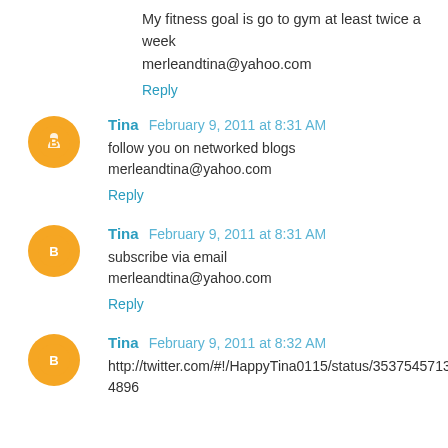My fitness goal is go to gym at least twice a week
merleandtina@yahoo.com
Reply
Tina  February 9, 2011 at 8:31 AM
follow you on networked blogs
merleandtina@yahoo.com
Reply
Tina  February 9, 2011 at 8:31 AM
subscribe via email
merleandtina@yahoo.com
Reply
Tina  February 9, 2011 at 8:32 AM
http://twitter.com/#!/HappyTina0115/status/35375457138384896